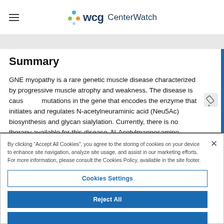WCG CenterWatch
Summary
GNE myopathy is a rare genetic muscle disease characterized by progressive muscle atrophy and weakness. The disease is caused by mutations in the gene that encodes the enzyme that initiates and regulates N-acetylneuraminic acid (Neu5Ac) biosynthesis and glycan sialylation. Currently, there is no therapy available for this disease. N-Acetylmannosamine (ManNAc), an orphan drug in development
By clicking "Accept All Cookies", you agree to the storing of cookies on your device to enhance site navigation, analyze site usage, and assist in our marketing efforts. For more information, please consult the Cookies Policy, available in the site footer.
Cookies Settings
Reject All